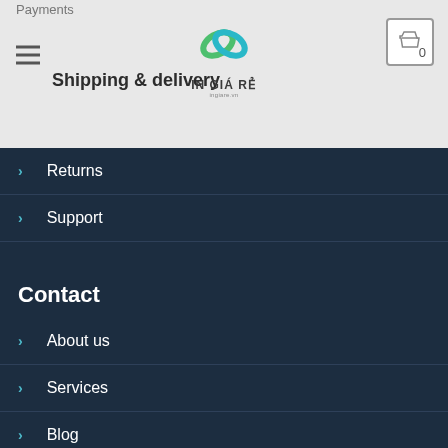Shipping & delivery
Returns
Support
Contact
About us
Services
Blog
Contact
Liên kết